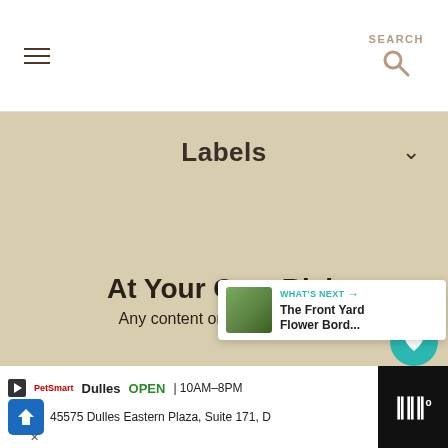Navigation bar with hamburger menu and SEARCH icon
Labels
[Figure (screenshot): Large beige/cream content area placeholder]
At Your Own Risk
Any content on this website is
[Figure (infographic): Teal heart/like button with count 1 and share button]
[Figure (infographic): What's Next card showing 'The Front Yard Flower Bord...' with thumbnail]
[Figure (screenshot): Bottom advertisement bar: Dulles OPEN 10AM-8PM, 45575 Dulles Eastern Plaza Suite 171 D]